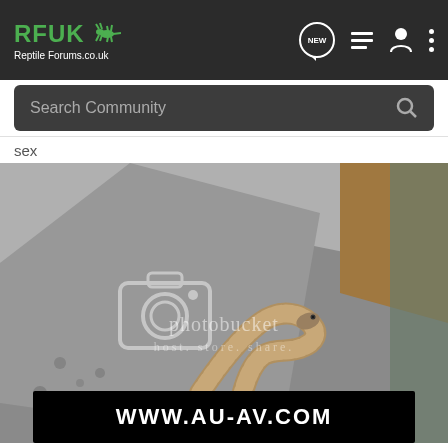RFUK Reptile Forums.co.uk — navigation bar with NEW, list, user, and menu icons
Search Community
sex
[Figure (photo): A reptile (skink or monitor lizard) photographed on a grey textured substrate inside a glass terrarium. The photo has a Photobucket watermark overlay with camera icon, 'photobucket', and 'host. store. share.' text. At the bottom of the image is a black banner reading 'WWW.AU-AV.COM'.]